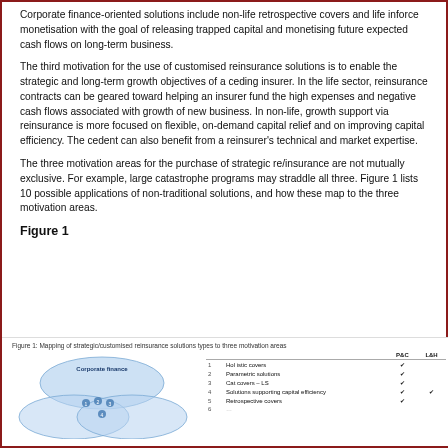Corporate finance-oriented solutions include non-life retrospective covers and life inforce monetisation with the goal of releasing trapped capital and monetising future expected cash flows on long-term business.
The third motivation for the use of customised reinsurance solutions is to enable the strategic and long-term growth objectives of a ceding insurer. In the life sector, reinsurance contracts can be geared toward helping an insurer fund the high expenses and negative cash flows associated with growth of new business. In non-life, growth support via reinsurance is more focused on flexible, on-demand capital relief and on improving capital efficiency. The cedent can also benefit from a reinsurer's technical and market expertise.
The three motivation areas for the purchase of strategic re/insurance are not mutually exclusive. For example, large catastrophe programs may straddle all three. Figure 1 lists 10 possible applications of non-traditional solutions, and how these map to the three motivation areas.
Figure 1
[Figure (infographic): Venn diagram showing three overlapping circles labeled Corporate finance, with numbered dots indicating solution types, alongside a table mapping solution types to P&C and L&H columns with checkmarks.]
Figure 1: Mapping of strategic/customised reinsurance solutions types to three motivation areas